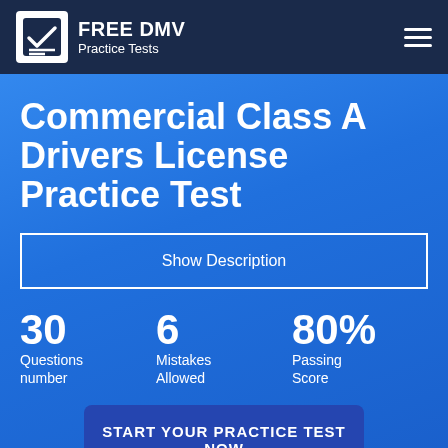FREE DMV Practice Tests
Commercial Class A Drivers License Practice Test
Show Description
30 Questions number
6 Mistakes Allowed
80% Passing Score
START YOUR PRACTICE TEST NOW